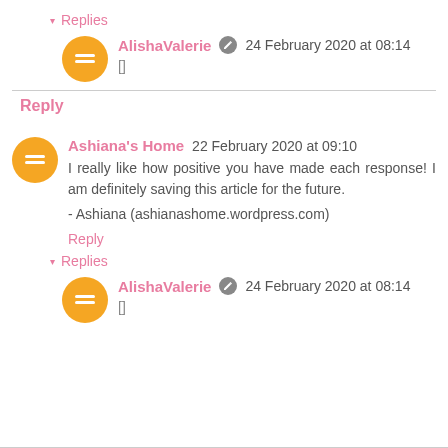▾ Replies
AlishaValerie  24 February 2020 at 08:14
[]
Reply
Ashiana's Home  22 February 2020 at 09:10
I really like how positive you have made each response! I am definitely saving this article for the future.
- Ashiana (ashianashome.wordpress.com)
Reply
▾ Replies
AlishaValerie  24 February 2020 at 08:14
[]